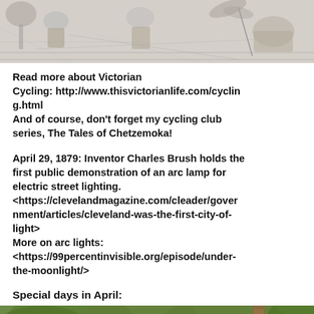[Figure (illustration): Victorian-era pencil/ink illustration showing figures outdoors, possibly cycling or leisure scene with trees and a basket.]
Read more about Victorian Cycling: http://www.thisvictorianlife.com/cycling.html
And of course, don't forget my cycling club series, The Tales of Chetzemoka!
April 29, 1879: Inventor Charles Brush holds the first public demonstration of an arc lamp for electric street lighting.
<https://clevelandmagazine.com/cleader/government/articles/cleveland-was-the-first-city-of-light>
More on arc lights:
<https://99percentinvisible.org/episode/under-the-moonlight/>
Special days in April:
[Figure (photo): Color photograph of a person wearing a straw hat outdoors among green foliage, with a wooden post visible to the right.]